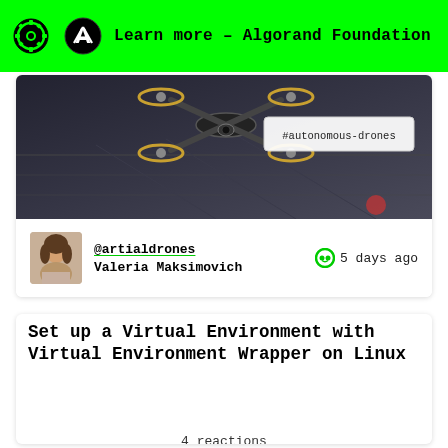Learn more – Algorand Foundation
[Figure (photo): A quadcopter drone on a dark tiled surface with a #autonomous-drones tag overlay]
#autonomous-drones
@artialdrones
Valeria Maksimovich
5 days ago
Set up a Virtual Environment with Virtual Environment Wrapper on Linux
4 reactions
[Figure (screenshot): Terminal screenshot showing pip install virtualenvwrapper command output]